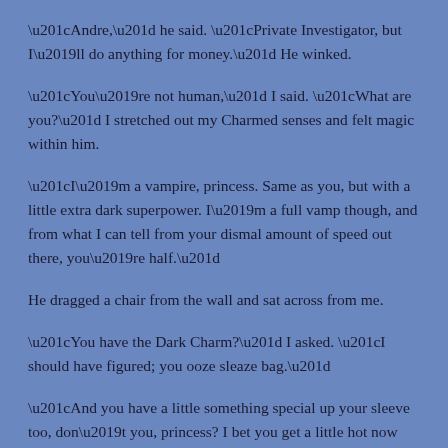“Andre,” he said. “Private Investigator, but I’ll do anything for money.” He winked.
“You’re not human,” I said. “What are you?” I stretched out my Charmed senses and felt magic within him.
“I’m a vampire, princess. Same as you, but with a little extra dark superpower. I’m a full vamp though, and from what I can tell from your dismal amount of speed out there, you’re half.”
He dragged a chair from the wall and sat across from me.
“You have the Dark Charm?” I asked. “I should have figured; you ooze sleaze bag.”
“And you have a little something special up your sleeve too, don’t you, princess? I bet you get a little hot now and